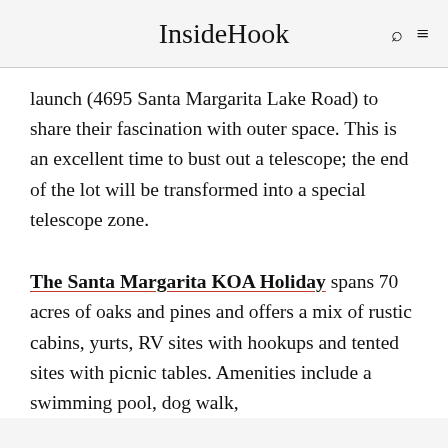InsideHook
launch (4695 Santa Margarita Lake Road) to share their fascination with outer space. This is an excellent time to bust out a telescope; the end of the lot will be transformed into a special telescope zone.
The Santa Margarita KOA Holiday spans 70 acres of oaks and pines and offers a mix of rustic cabins, yurts, RV sites with hookups and tented sites with picnic tables. Amenities include a swimming pool, dog walk,